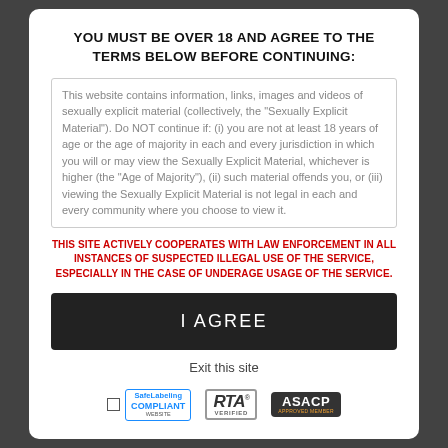YOU MUST BE OVER 18 AND AGREE TO THE TERMS BELOW BEFORE CONTINUING:
This website contains information, links, images and videos of sexually explicit material (collectively, the "Sexually Explicit Material"). Do NOT continue if: (i) you are not at least 18 years of age or the age of majority in each and every jurisdiction in which you will or may view the Sexually Explicit Material, whichever is higher (the "Age of Majority"), (ii) such material offends you, or (iii) viewing the Sexually Explicit Material is not legal in each and every community where you choose to view it.
THIS SITE ACTIVELY COOPERATES WITH LAW ENFORCEMENT IN ALL INSTANCES OF SUSPECTED ILLEGAL USE OF THE SERVICE, ESPECIALLY IN THE CASE OF UNDERAGE USAGE OF THE SERVICE.
I AGREE
Exit this site
[Figure (logo): SafeLabeling Compliant Website badge, RTA Verified badge, and ASACP Approved Member badge]